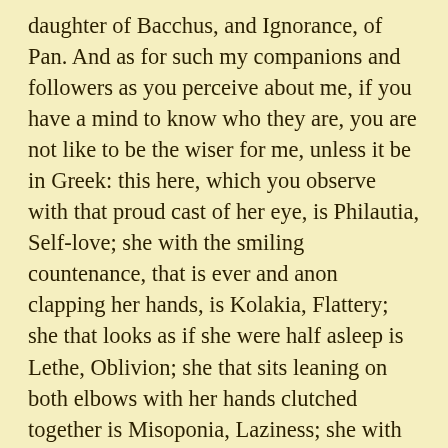daughter of Bacchus, and Ignorance, of Pan. And as for such my companions and followers as you perceive about me, if you have a mind to know who they are, you are not like to be the wiser for me, unless it be in Greek: this here, which you observe with that proud cast of her eye, is Philautia, Self-love; she with the smiling countenance, that is ever and anon clapping her hands, is Kolakia, Flattery; she that looks as if she were half asleep is Lethe, Oblivion; she that sits leaning on both elbows with her hands clutched together is Misoponia, Laziness; she with the garland on her head, and that smells so strong of perfumes, is Hedone, Pleasure; she with those staring eyes, moving